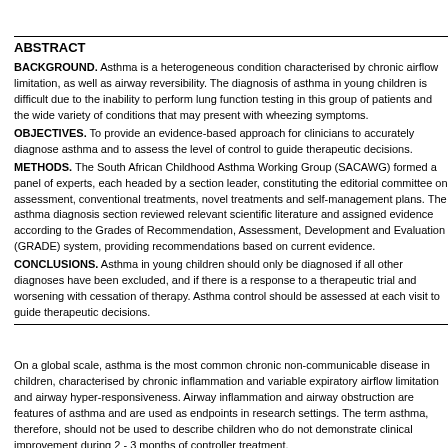ABSTRACT
BACKGROUND. Asthma is a heterogeneous condition characterised by chronic airflow limitation, as well as airway reversibility. The diagnosis of asthma in young children is difficult due to the inability to perform lung function testing in this group of patients and the wide variety of conditions that may present with wheezing symptoms. OBJECTIVES. To provide an evidence-based approach for clinicians to accurately diagnose asthma and to assess the level of control to guide therapeutic decisions. METHODS. The South African Childhood Asthma Working Group (SACAWG) formed a panel of experts, each headed by a section leader, constituting the editorial committee on assessment, conventional treatments, novel treatments and self-management plans. The asthma diagnosis section reviewed relevant scientific literature and assigned evidence according to the Grades of Recommendation, Assessment, Development and Evaluation (GRADE) system, providing recommendations based on current evidence. CONCLUSIONS. Asthma in young children should only be diagnosed if all other diagnoses have been excluded, and if there is a response to a therapeutic trial and worsening with cessation of therapy. Asthma control should be assessed at each visit to guide therapeutic decisions.
On a global scale, asthma is the most common chronic non-communicable disease in children, characterised by chronic inflammation and variable expiratory airflow limitation and airway hyper-responsiveness. Airway inflammation and airway obstruction are features of asthma and are used as endpoints in research settings. The term asthma, therefore, should not be used to describe children who do not demonstrate clinical improvement during 2 - 3 months of controller treatment.